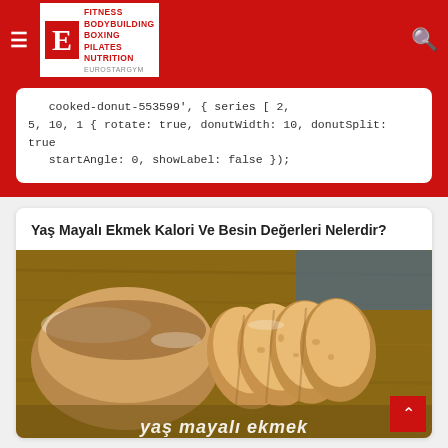FITNESS BODYBUILDING BOXING PILATES NUTRITION — Eurostargym
cooked-donut-553599', { series [ 2, 5, 10, 1 { rotate: true, donutWidth: 10, donutSplit: true startAngle: 0, showLabel: false });
Yaş Mayalı Ekmek Kalori Ve Besin Değerleri Nelerdir?
[Figure (photo): Sliced fresh yeast bread on a wooden cutting board, with flour dusting, close-up photo. Text overlay at bottom reads 'yaş mayalı ekmek']